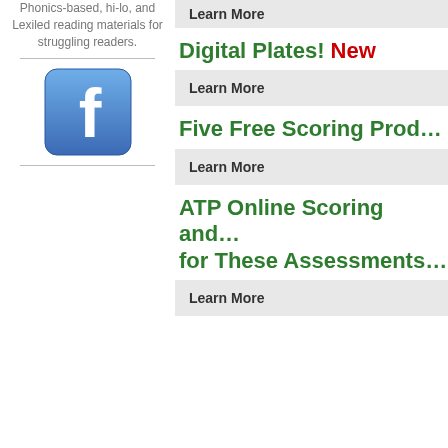Phonics-based, hi-lo, and Lexiled reading materials for struggling readers.
[Figure (logo): Facebook logo icon, blue square with white 'f']
Learn More
Digital Plates! New
Learn More
Five Free Scoring Prod...
Learn More
ATP Online Scoring and... for These Assessments...
Learn More